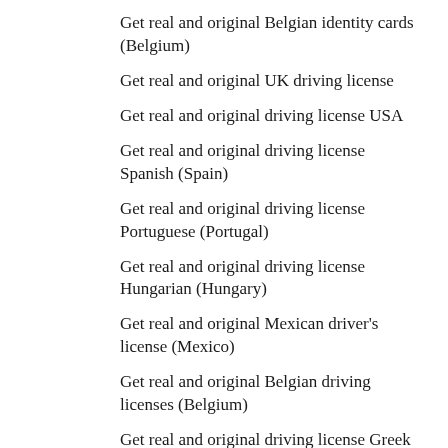Get real and original Belgian identity cards (Belgium)
Get real and original UK driving license
Get real and original driving license USA
Get real and original driving license Spanish (Spain)
Get real and original driving license Portuguese (Portugal)
Get real and original driving license Hungarian (Hungary)
Get real and original Mexican driver's license (Mexico)
Get real and original Belgian driving licenses (Belgium)
Get real and original driving license Greek (Greece)